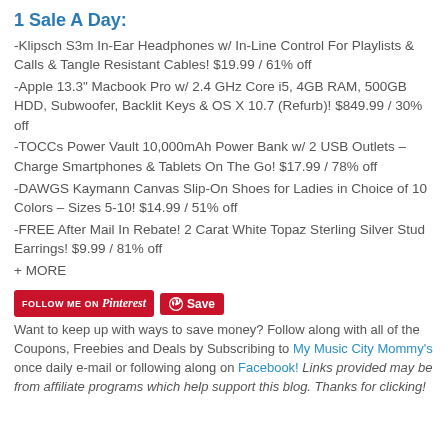1 Sale A Day:
-Klipsch S3m In-Ear Headphones w/ In-Line Control For Playlists & Calls & Tangle Resistant Cables! $19.99 / 61% off
-Apple 13.3" Macbook Pro w/ 2.4 GHz Core i5, 4GB RAM, 500GB HDD, Subwoofer, Backlit Keys & OS X 10.7 (Refurb)! $849.99 / 30% off
-TOCCs Power Vault 10,000mAh Power Bank w/ 2 USB Outlets – Charge Smartphones & Tablets On The Go! $17.99 / 78% off
-DAWGS Kaymann Canvas Slip-On Shoes for Ladies in Choice of 10 Colors – Sizes 5-10! $14.99 / 51% off
-FREE After Mail In Rebate! 2 Carat White Topaz Sterling Silver Stud Earrings! $9.99 / 81% off
+ MORE
[Figure (logo): Pinterest Follow Me On button (red) and Pinterest Save button (red circle icon with Save text)]
Want to keep up with ways to save money? Follow along with all of the Coupons, Freebies and Deals by Subscribing to My Music City Mommy's once daily e-mail or following along on Facebook! Links provided may be from affiliate programs which help support this blog. Thanks for clicking!